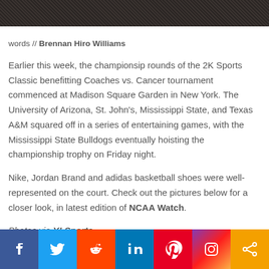[Figure (photo): Dark cropped photo of basketball players at the top of the page]
words // Brennan Hiro Williams
Earlier this week, the championsip rounds of the 2K Sports Classic benefitting Coaches vs. Cancer tournament commenced at Madison Square Garden in New York. The University of Arizona, St. John's, Mississippi State, and Texas A&M squared off in a series of entertaining games, with the Mississippi State Bulldogs eventually hoisting the championship trophy on Friday night.
Nike, Jordan Brand and adidas basketball shoes were well-represented on the court. Check out the pictures below for a closer look, in latest edition of NCAA Watch.
Photos via Y! Sports.
[Figure (infographic): Social media sharing bar with Facebook, Twitter, Reddit, LinkedIn, Pinterest, Instagram, and share buttons]